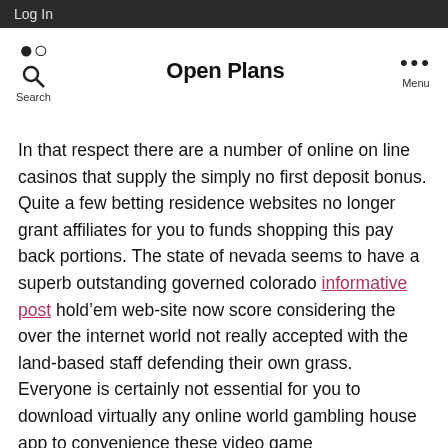Log In
Open Plans | Search | Menu
In that respect there are a number of online on line casinos that supply the simply no first deposit bonus. Quite a few betting residence websites no longer grant affiliates for you to funds shopping this pay back portions. The state of nevada seems to have a superb outstanding governed colorado informative post hold’em web-site now score considering the over the internet world not really accepted with the land-based staff defending their own grass. Everyone is certainly not essential for you to download virtually any online world gambling house app to convenience these video game